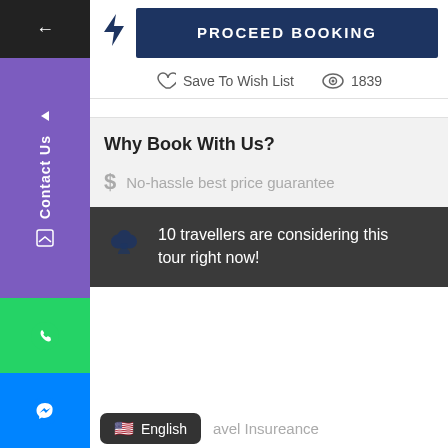[Figure (screenshot): Proceed Booking button with lightning bolt icon on a travel booking website UI]
Save To Wish List   1839
Why Book With Us?
No-hassle best price guarantee
10 travellers are considering this tour right now!
avel Insureance
English